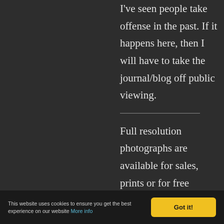I've seen people take offense in the past. If it happens here, then I will have to take the journal/blog off public viewing.
Full resolution photographs are available for sales, prints or for free depending on
This website uses cookies to ensure you get the best experience on our website More info  Got it!